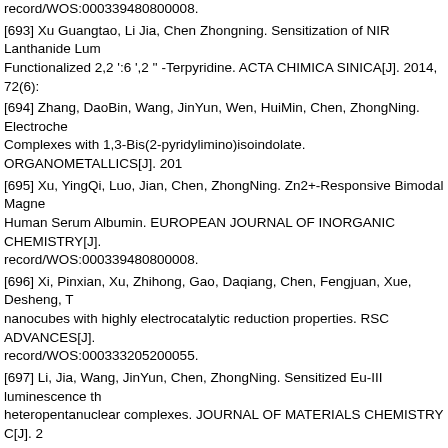record/WOS:000339480800008.
[693] Xu Guangtao, Li Jia, Chen Zhongning. Sensitization of NIR Lanthanide Luminescence by Functionalized 2,2 ':6 ',2 '' -Terpyridine. ACTA CHIMICA SINICA[J]. 2014, 72(6):
[694] Zhang, DaoBin, Wang, JinYun, Wen, HuiMin, Chen, ZhongNing. Electrochemical Complexes with 1,3-Bis(2-pyridylimino)isoindolate. ORGANOMETALLICS[J]. 201
[695] Xu, YingQi, Luo, Jian, Chen, ZhongNing. Zn2+-Responsive Bimodal Magnetic Resonance/Luminescent Probe Based on Human Serum Albumin. EUROPEAN JOURNAL OF INORGANIC CHEMISTRY[J]. record/WOS:000339480800008.
[696] Xi, Pinxian, Xu, Zhihong, Gao, Daqiang, Chen, Fengjuan, Xue, Desheng, T... nanocubes with highly electrocatalytic reduction properties. RSC ADVANCES[J]. record/WOS:000333205200055.
[697] Li, Jia, Wang, JinYun, Chen, ZhongNing. Sensitized Eu-III luminescence through heteropentanuclear complexes. JOURNAL OF MATERIALS CHEMISTRY C[J]. 2
[698] Chen, JingLin, Cao, XingFu, Wang, JinYun, He, LiHua, Liu, ZongYong, Wen... of Heteroleptic Copper(I) Complexes with Functionalized 3-(2'-Pyridyl)-1,2,4-triaz... 9740, https://www.webofscience.com/wos/woscc/full-record/WOS:000326129000...
[699] Xu, LiangJin, Wang, JinYun, Zhang, LiYi, Shi, LinXi, Chen, ZhongNing. Structure of Au8Ag4 Alkynyl Cluster Complexes. ORGANOMETALLICS[J]. 2013, 32(19): 540
[700] Li, Lina, Zhang, Shuquan, Xu, Liangjin, Han, Liang, Chen, ZhongNing, Luo... Harvesting Dyclo-Metalated Iridium(III) Unit Showing Effective Detection of Explo... 12325, https://www.webofscience.com/wos/woscc/full-record/WOS:000326666920...
[701] Xu, HaiBing, Deng, JianGuo, Zhang, LiYi, Chen, ZhongNing. Structural and... (EuTb3/Eu3Tb) Isomers of Heterotetranuclear Lanthanide(III) Complexes. CRYS